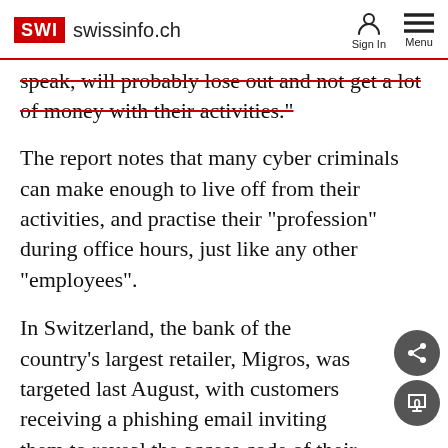SWI swissinfo.ch | Sign In | Menu
speak, will probably lose out and not get a lot of money with their activities."
The report notes that many cyber criminals can make enough to live off from their activities, and practise their "profession" during office hours, just like any other "employees".
In Switzerland, the bank of the country's largest retailer, Migros, was targeted last August, with customers receiving a phishing email inviting them to reveal the access code of their account so that its validity could be checked.